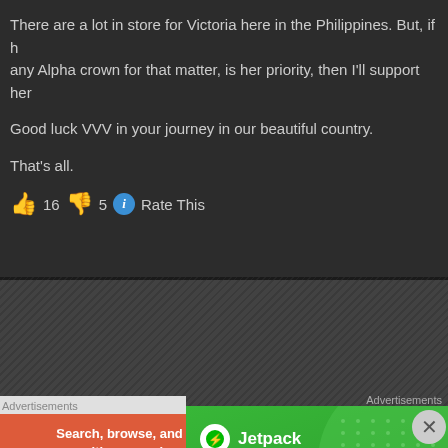There are a lot in store for Victoria here in the Philippines. But, if h... any Alpha crown for that matter, is her priority, then I'll support her...

Good luck VVV in your journey in our beautiful country.

That's all.
👍 16 👎 5 ℹ Rate This
Advertisements
[Figure (screenshot): Jetpack WordPress plugin advertisement on green background with text 'We guard your WordPress site. You run your busine...']
Advertisements
[Figure (screenshot): DuckDuckGo advertisement banner: 'Search, browse, and email with more privacy. All in One Free App' with duck logo on dark background]